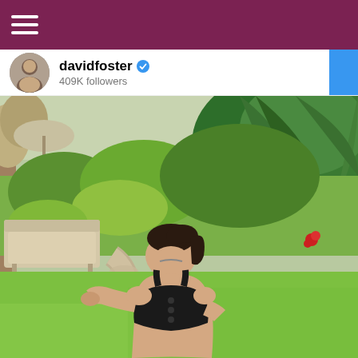[Figure (screenshot): Dark maroon top navigation bar with white hamburger menu icon (three horizontal lines)]
davidfoster 409K followers
[Figure (photo): Instagram post by davidfoster. A woman with dark hair in a ponytail, wearing a black bikini top, standing on green grass in a tropical garden with palm trees, lush tropical plants, stone pathway, and lounge chairs visible in the background.]